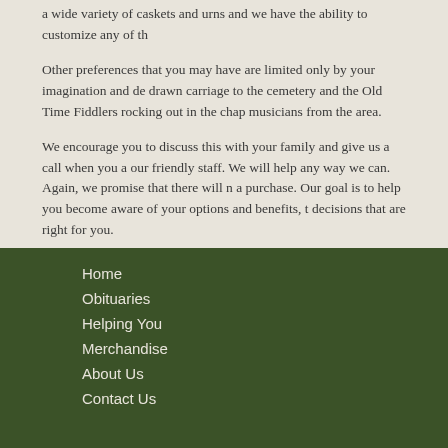a wide variety of caskets and urns and we have the ability to customize any of th...
Other preferences that you may have are limited only by your imagination and de... drawn carriage to the cemetery and the Old Time Fiddlers rocking out in the chap... musicians from the area.
We encourage you to discuss this with your family and give us a call when you a... our friendly staff. We will help any way we can. Again, we promise that there will ... a purchase. Our goal is to help you become aware of your options and benefits, t... decisions that are right for you.
Home
Obituaries
Helping You
Merchandise
About Us
Contact Us